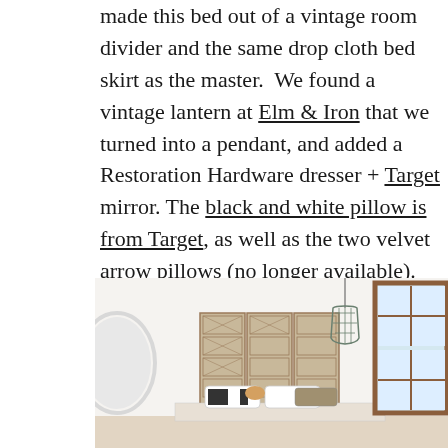made this bed out of a vintage room divider and the same drop cloth bed skirt as the master. We found a vintage lantern at Elm & Iron that we turned into a pendant, and added a Restoration Hardware dresser + Target mirror. The black and white pillow is from Target, as well as the two velvet arrow pillows (no longer available).
[Figure (photo): Interior bedroom photo showing a decorative headboard made from a vintage room divider with ornate lattice pattern, a hanging lantern pendant, pillows on the bed, and a wooden-framed window to the right. A round mirror is partially visible on the left.]